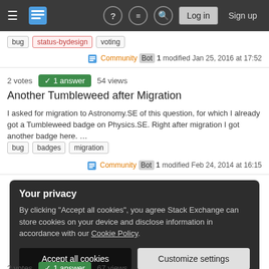Stack Exchange navigation bar with Log in and Sign up buttons
bug   status-bydesign   voting
Community Bot 1 modified Jan 25, 2016 at 17:52
2 votes   ✓ 1 answer   54 views
Another Tumbleweed after Migration
I asked for migration to Astronomy.SE of this question, for which I already got a Tumbleweed badge on Physics.SE. Right after migration I got another badge here. ...
bug   badges   migration
Community Bot 1 modified Feb 24, 2014 at 16:15
Your privacy
By clicking "Accept all cookies", you agree Stack Exchange can store cookies on your device and disclose information in accordance with our Cookie Policy.
Accept all cookies   Customize settings
2 votes   ✓ 1 answer   67 views